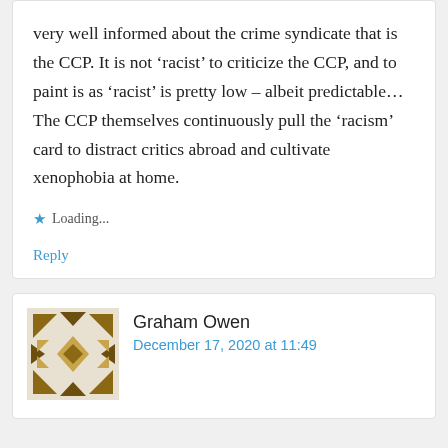very well informed about the crime syndicate that is the CCP. It is not ‘racist’ to criticize the CCP, and to paint is as ‘racist’ is pretty low – albeit predictable… The CCP themselves continuously pull the ‘racism’ card to distract critics abroad and cultivate xenophobia at home.
Loading...
Reply
[Figure (illustration): Geometric avatar icon with triangular and diamond shapes in brown/tan colors]
Graham Owen
December 17, 2020 at 11:49